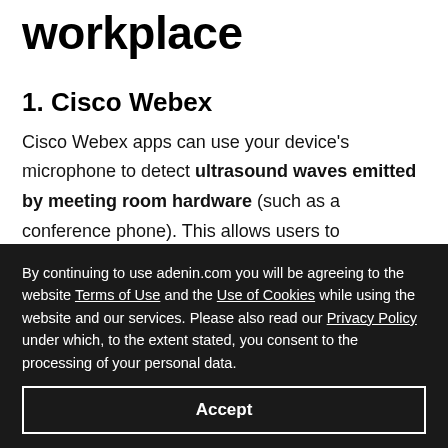workplace
1. Cisco Webex
Cisco Webex apps can use your device's microphone to detect ultrasound waves emitted by meeting room hardware (such as a conference phone). This allows users to seamlessly join a
By continuing to use adenin.com you will be agreeing to the website Terms of Use and the Use of Cookies while using the website and our services. Please also read our Privacy Policy under which, to the extent stated, you consent to the processing of your personal data.
Accept